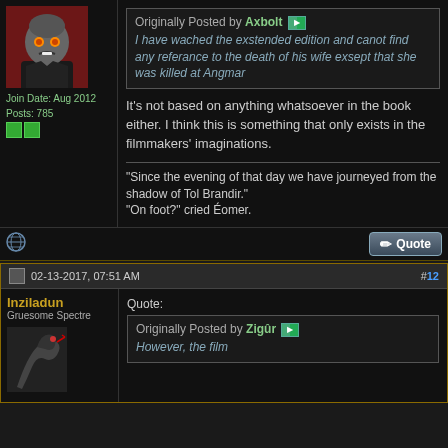[Figure (illustration): Dark-toned cartoon avatar of a grey-skinned bald figure with glowing orange eyes on a red background, wearing black clothing]
Join Date: Aug 2012
Posts: 785
Originally Posted by Axbolt
I have wached the exstended edition and canot find any referance to the death of his wife exsept that she was killed at Angmar
It's not based on anything whatsoever in the book either. I think this is something that only exists in the filmmakers' imaginations.
"Since the evening of that day we have journeyed from the shadow of Tol Brandir."
"On foot?" cried Éomer.
02-13-2017, 07:51 AM
#12
Inziladun
Gruesome Spectre
Quote:
Originally Posted by Zigûr
However, the film